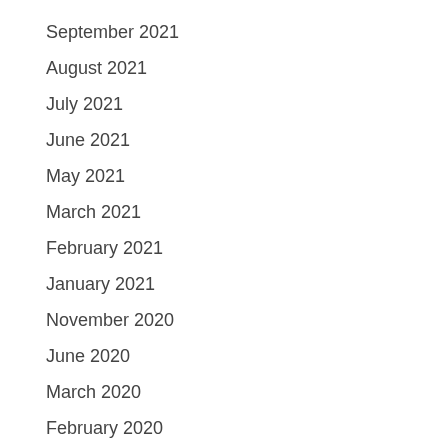September 2021
August 2021
July 2021
June 2021
May 2021
March 2021
February 2021
January 2021
November 2020
June 2020
March 2020
February 2020